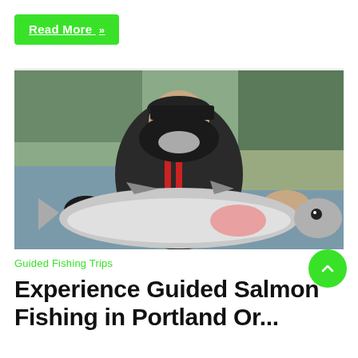Read More »
[Figure (photo): A smiling man wearing a black hooded jacket and cap, holding a large salmon fish with both hands while standing in a river. Trees and shrubs are visible in the background.]
Guided Fishing Trips
Experience Guided Salmon Fishing in Portland Or...